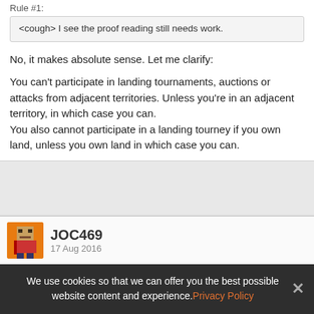Rule #1:
<cough> I see the proof reading still needs work.
No, it makes absolute sense. Let me clarify:
You can't participate in landing tournaments, auctions or attacks from adjacent territories. Unless you're in an adjacent territory, in which case you can.
You also cannot participate in a landing tourney if you own land, unless you own land in which case you can.
JOC469
17 Aug 2016
Block Quote
We use cookies so that we can offer you the best possible website content and experience. Privacy Policy